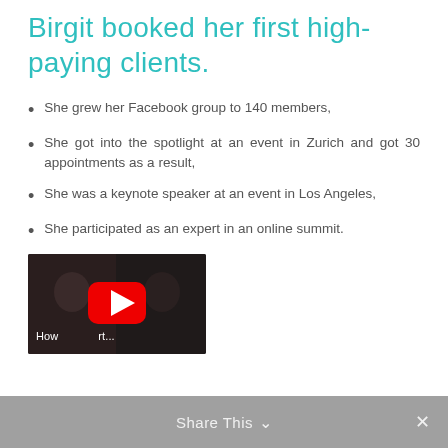Birgit booked her first high-paying clients.
She grew her Facebook group to 140 members,
She got into the spotlight at an event in Zurich and got 30 appointments as a result,
She was a keynote speaker at an event in Los Angeles,
She participated as an expert in an online summit.
[Figure (screenshot): YouTube video thumbnail showing a play button with text 'How...rt...']
Share This ∨  ✕